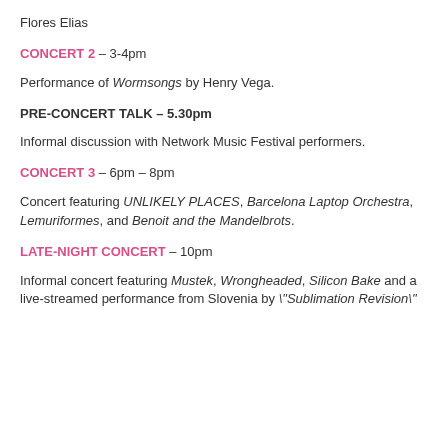Flores Elias
CONCERT 2 – 3-4pm
Performance of Wormsongs by Henry Vega.
PRE-CONCERT TALK – 5.30pm
Informal discussion with Network Music Festival performers.
CONCERT 3 – 6pm – 8pm
Concert featuring UNLIKELY PLACES, Barcelona Laptop Orchestra, Lemuriformes, and Benoit and the Mandelbrots.
LATE-NIGHT CONCERT – 10pm
Informal concert featuring Mustek, Wrongheaded, Silicon Bake and a live-streamed performance from Slovenia by \"Sublimation Revision\"